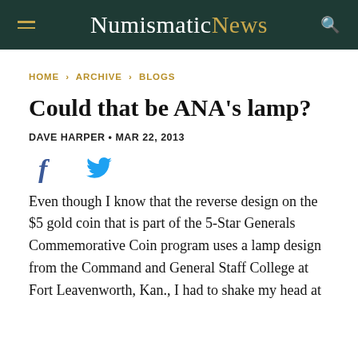NumismaticNews
HOME › ARCHIVE › BLOGS
Could that be ANA's lamp?
DAVE HARPER • MAR 22, 2013
Even though I know that the reverse design on the $5 gold coin that is part of the 5-Star Generals Commemorative Coin program uses a lamp design from the Command and General Staff College at Fort Leavenworth, Kan., I had to shake my head at